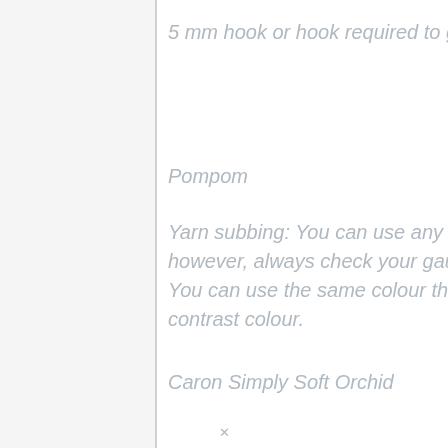5 mm hook or hook required to get tension as described below
Pompom
Yarn subbing: You can use any other aran/worsted weight yarn, however, always check your gauge when using alternative yarn. You can use the same colour throughout or make stripes with a contrast colour.
Caron Simply Soft Orchid